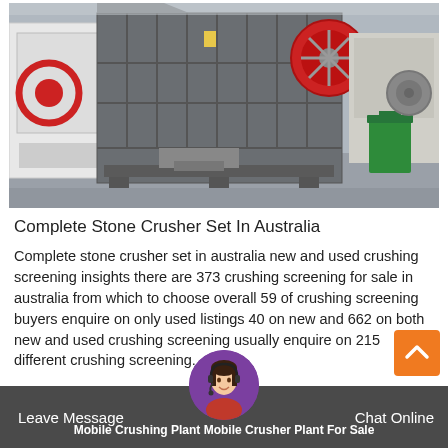[Figure (photo): Industrial stone crusher / jaw crusher machine in a factory setting. Large grey metal crushing machine with red flywheels. Other industrial equipment and a green waste bin visible in the background.]
Complete Stone Crusher Set In Australia
Complete stone crusher set in australia new and used crushing screening insights there are 373 crushing screening for sale in australia from which to choose overall 59 of crushing screening buyers enquire on only used listings 40 on new and 662 on both new and used crushing screening usually enquire on 215 different crushing screening.
Leave Message   Mobile Crushing Plant Mobile Crusher Plant For Sale   Chat Online